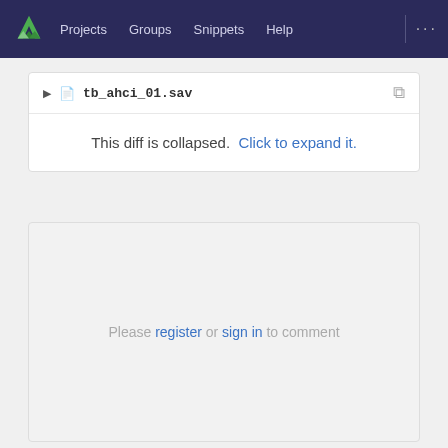Projects  Groups  Snippets  Help
tb_ahci_01.sav
This diff is collapsed. Click to expand it.
Please register or sign in to comment